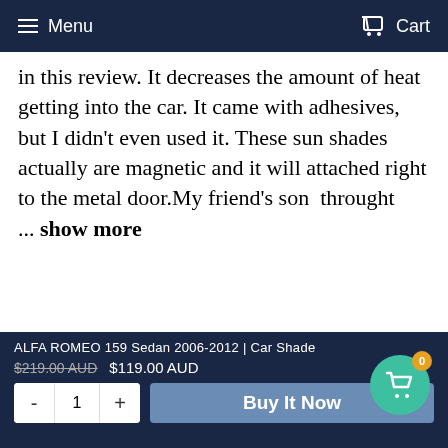Menu  Cart
in this review. It decreases the amount of heat getting into the car. It came with adhesives, but I didn't even used it. These sun shades actually are magnetic and it will attached right to the metal door.My friend's son throught  ...  show more
[Figure (photo): Four thumbnail photos of car sun shade product installed on car windows]
ALFA ROMEO 159 Sedan 2006-2012 | Car Shade
$219.00 AUD  $119.00 AUD
- 1 + Buy It Now